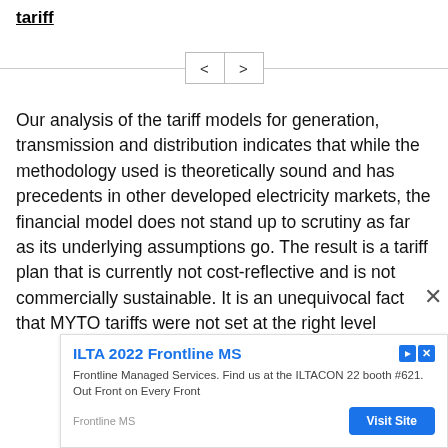tariff
Our analysis of the tariff models for generation, transmission and distribution indicates that while the methodology used is theoretically sound and has precedents in other developed electricity markets, the financial model does not stand up to scrutiny as far as its underlying assumptions go. The result is a tariff plan that is currently not cost-reflective and is not commercially sustainable. It is an unequivocal fact that MYTO tariffs were not set at the right level